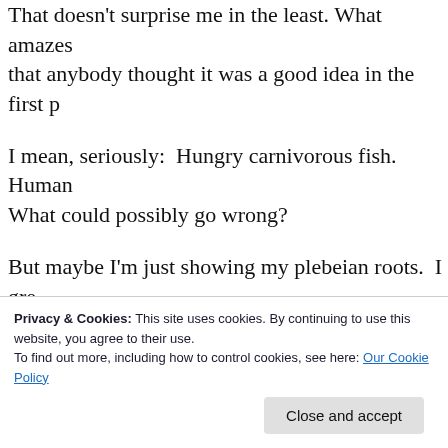That doesn't surprise me in the least.  What amazes me is that anybody thought it was a good idea in the first p[lace]
I mean, seriously:  Hungry carnivorous fish.  Human[s]. What could possibly go wrong?
But maybe I'm just showing my plebeian roots.  I gre[w up on] a prairie farm, and in summer we swam in our backy[ard] dugout.  Leeches would attach themselves to any exp[osed] skin and suck our blood if we stood still for even a fe[w] seconds; and just in case that's not enough to give y[ou] nightmares, there was also some kind of water bug w[ith a] sadistic proclivity to get inside each bathing suit...
Privacy & Cookies: This site uses cookies. By continuing to use this website, you agree to their use.
To find out more, including how to control cookies, see here: Our Cookie Policy
Close and accept